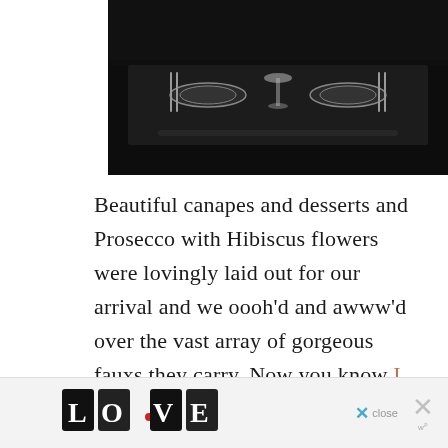[Figure (photo): Dark photograph of a dining table set with silverware, plates, and a wine glass, taken from above at an angle. The table has a dark surface with elegant place settings.]
Beautiful canapes and desserts and Prosecco with Hibiscus flowers were lovingly laid out for our arrival and we oooh'd and awww'd over the vast array of gorgeous fauxs they carry. Now you know I do love my fauxs but I fully admit, I'm
[Figure (other): Advertisement banner at bottom of page showing decorative 'LOVE' lettering in black and white illustration style with a red heart detail, alongside close buttons.]